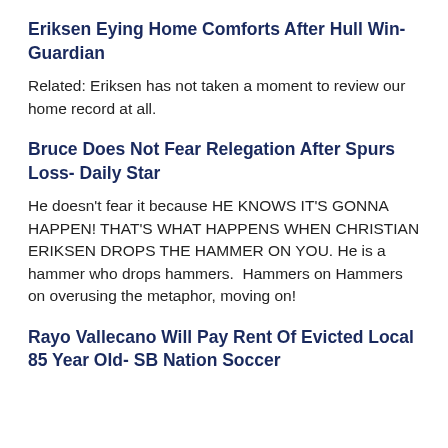Eriksen Eying Home Comforts After Hull Win- Guardian
Related: Eriksen has not taken a moment to review our home record at all.
Bruce Does Not Fear Relegation After Spurs Loss- Daily Star
He doesn't fear it because HE KNOWS IT'S GONNA HAPPEN! THAT'S WHAT HAPPENS WHEN CHRISTIAN ERIKSEN DROPS THE HAMMER ON YOU. He is a hammer who drops hammers.  Hammers on Hammers on overusing the metaphor, moving on!
Rayo Vallecano Will Pay Rent Of Evicted Local 85 Year Old- SB Nation Soccer